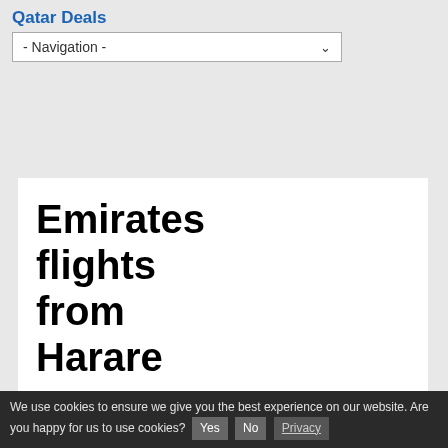Qatar Deals
- Navigation -
Emirates flights from Harare
Emirates CPT  Emirates JNB  Emirates DUR
We use cookies to ensure we give you the best experience on our website. Are you happy for us to use cookies?  Yes  No  Privacy